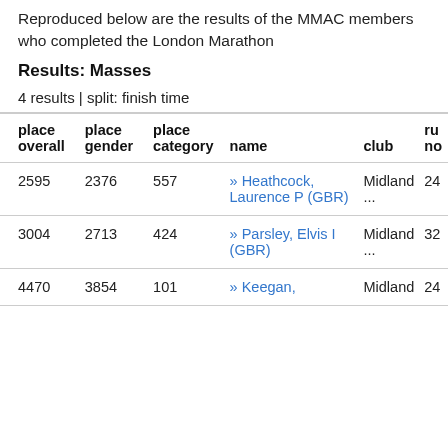Reproduced below are the results of the MMAC members who completed the London Marathon
Results: Masses
4 results | split: finish time
| place overall | place gender | place category | name | club | ru no |
| --- | --- | --- | --- | --- | --- |
| 2595 | 2376 | 557 | » Heathcock, Laurence P (GBR) | Midland ... | 24 |
| 3004 | 2713 | 424 | » Parsley, Elvis I (GBR) | Midland ... | 32 |
| 4470 | 3854 | 101 | » Keegan, | Midland | 24 |